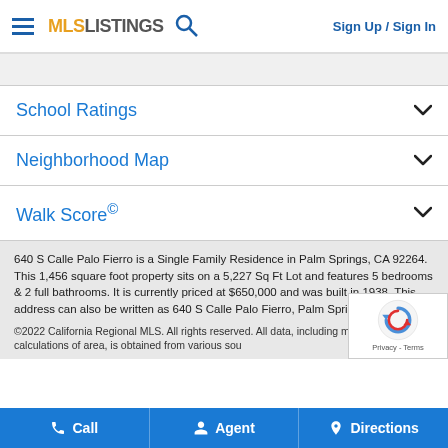MLS LISTINGS | Sign Up / Sign In
School Ratings
Neighborhood Map
Walk Score©
640 S Calle Palo Fierro is a Single Family Residence in Palm Springs, CA 92264. This 1,456 square foot property sits on a 5,227 Sq Ft Lot and features 5 bedrooms & 2 full bathrooms. It is currently priced at $650,000 and was built in 1938. This address can also be written as 640 S Calle Palo Fierro, Palm Springs, CA 92264.
©2022 California Regional MLS. All rights reserved. All data, including measurements and calculations of area, is obtained from various sou
Call | Agent | Directions